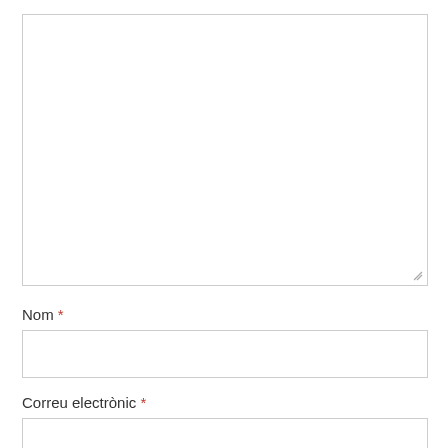[Figure (other): Large empty textarea form field with resize handle at bottom right]
Nom *
[Figure (other): Single-line text input field for Nom]
Correu electrònic *
[Figure (other): Single-line text input field for Correu electrònic]